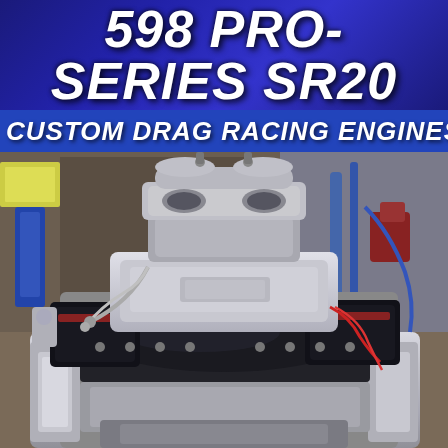598 PRO-SERIES SR20
CUSTOM DRAG RACING ENGINES
[Figure (photo): A highly polished and detailed custom drag racing engine on a stand in a garage workshop setting. The engine features a large chrome/polished aluminum intake manifold, a four-barrel carburetor on top, polished valve covers, black block, and red valve cover accents. Workshop tools and equipment visible in background.]